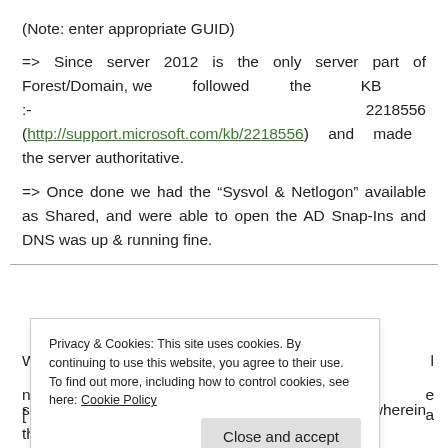(Note: enter appropriate GUID)
=> Since server 2012 is the only server part of Forest/Domain, we followed the KB :- 2218556 (http://support.microsoft.com/kb/2218556) and made the server authoritative.
=> Once done we had the “Sysvol & Netlogon” available as Shared, and were able to open the AD Snap-Ins and DNS was up & running fine.
Privacy & Cookies: This site uses cookies. By continuing to use this website, you agree to their use. To find out more, including how to control cookies, see here: Cookie Policy
state of error. We were getting an event id 2213 wherein the